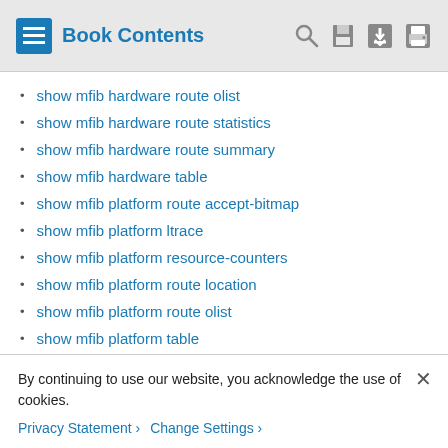Book Contents
show mfib hardware route olist
show mfib hardware route statistics
show mfib hardware route summary
show mfib hardware table
show mfib platform route accept-bitmap
show mfib platform ltrace
show mfib platform resource-counters
show mfib platform route location
show mfib platform route olist
show mfib platform table
show mfib platform route internallogical
By continuing to use our website, you acknowledge the use of cookies.
Privacy Statement › Change Settings ›